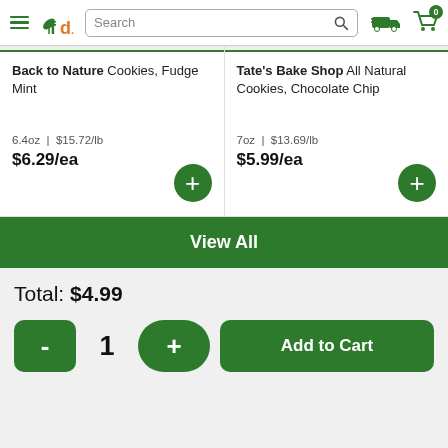fd — Freshdrect header with search bar and cart (0 items)
Back to Nature Cookies, Fudge Mint
6.4oz | $15.72/lb
$6.29/ea
Tate's Bake Shop All Natural Cookies, Chocolate Chip
7oz | $13.69/lb
$5.99/ea
View All
Total: $4.99
- 1 + Add to Cart